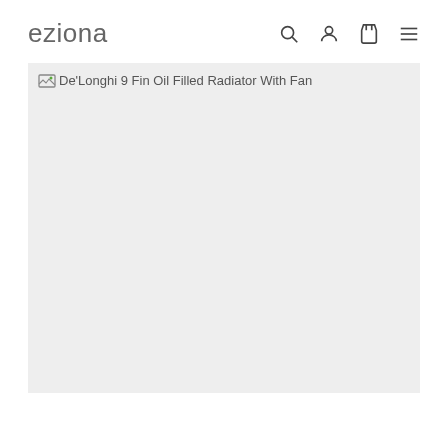eziona
[Figure (photo): Broken image placeholder for De'Longhi 9 Fin Oil Filled Radiator With Fan product photo. Image failed to load, showing alt text and broken image icon on a light grey background.]